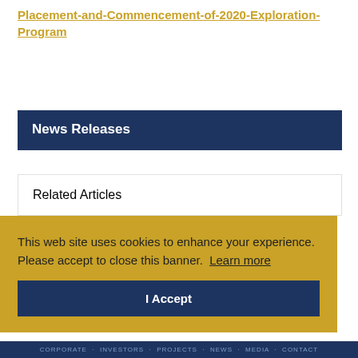Placement-and-Commencement-of-2020-Exploration-Program
News Releases
Related Articles
This web site uses cookies to enhance your experience. Please accept to close this banner.  Learn more
I Accept
CORPORATE · INVESTORS · PROJECTS · NEWS · MEDIA · CONTACT